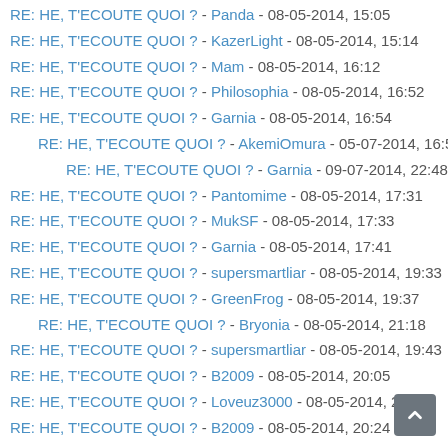RE: HE, T'ECOUTE QUOI ? - Panda - 08-05-2014, 15:05
RE: HE, T'ECOUTE QUOI ? - KazerLight - 08-05-2014, 15:14
RE: HE, T'ECOUTE QUOI ? - Mam - 08-05-2014, 16:12
RE: HE, T'ECOUTE QUOI ? - Philosophia - 08-05-2014, 16:52
RE: HE, T'ECOUTE QUOI ? - Garnia - 08-05-2014, 16:54
RE: HE, T'ECOUTE QUOI ? - AkemiOmura - 05-07-2014, 16:58
RE: HE, T'ECOUTE QUOI ? - Garnia - 09-07-2014, 22:48
RE: HE, T'ECOUTE QUOI ? - Pantomime - 08-05-2014, 17:31
RE: HE, T'ECOUTE QUOI ? - MukSF - 08-05-2014, 17:33
RE: HE, T'ECOUTE QUOI ? - Garnia - 08-05-2014, 17:41
RE: HE, T'ECOUTE QUOI ? - supersmartliar - 08-05-2014, 19:33
RE: HE, T'ECOUTE QUOI ? - GreenFrog - 08-05-2014, 19:37
RE: HE, T'ECOUTE QUOI ? - Bryonia - 08-05-2014, 21:18
RE: HE, T'ECOUTE QUOI ? - supersmartliar - 08-05-2014, 19:43
RE: HE, T'ECOUTE QUOI ? - B2009 - 08-05-2014, 20:05
RE: HE, T'ECOUTE QUOI ? - Loveuz3000 - 08-05-2014, 20:06
RE: HE, T'ECOUTE QUOI ? - B2009 - 08-05-2014, 20:24
RE: HE, T'ECOUTE QUOI ? - Garnia - 08-05-2014, 21:14
RE: HE, T'ECOUTE QUOI ? - supersmartliar - 08-05-2014, 21:22
RE: HE, T'ECOUTE QUOI ? - Garnia - 08-05-2014, 21:30
RE: HE, T'ECOUTE QUOI ? - B2009 - 08-05-2014, 21:34
RE: HE, T'ECOUTE QUOI ? - MysterBlack - 08-05-2014, 21:34
RE: HE, T'ECOUTE QUOI ? - Garnia - 08-05-2014, 21:45